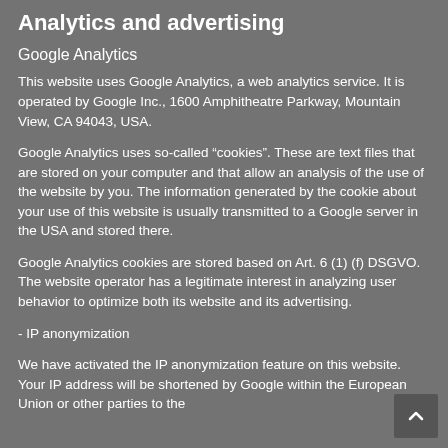Analytics and advertising
Google Analytics
This website uses Google Analytics, a web analytics service. It is operated by Google Inc., 1600 Amphitheatre Parkway, Mountain View, CA 94043, USA.
Google Analytics uses so-called “cookies”. These are text files that are stored on your computer and that allow an analysis of the use of the website by you. The information generated by the cookie about your use of this website is usually transmitted to a Google server in the USA and stored there.
Google Analytics cookies are stored based on Art. 6 (1) (f) DSGVO. The website operator has a legitimate interest in analyzing user behavior to optimize both its website and its advertising.
- IP anonymization
We have activated the IP anonymization feature on this website. Your IP address will be shortened by Google within the European Union or other parties to the